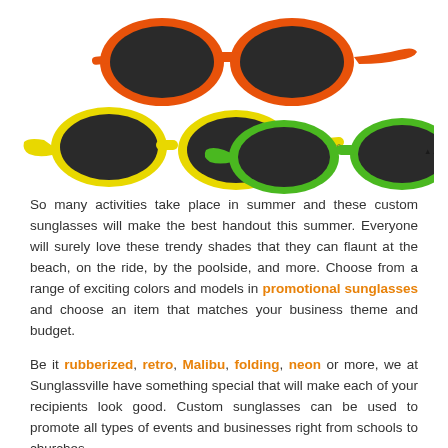[Figure (photo): Three pairs of colorful custom promotional sunglasses: one orange pair at the top center, one yellow pair at the bottom left with a brand logo on the arm, and one green pair at the bottom right with 'ARGON' branding on the arm.]
So many activities take place in summer and these custom sunglasses will make the best handout this summer. Everyone will surely love these trendy shades that they can flaunt at the beach, on the ride, by the poolside, and more. Choose from a range of exciting colors and models in promotional sunglasses and choose an item that matches your business theme and budget.
Be it rubberized, retro, Malibu, folding, neon or more, we at Sunglassville have something special that will make each of your recipients look good. Custom sunglasses can be used to promote all types of events and businesses right from schools to churches